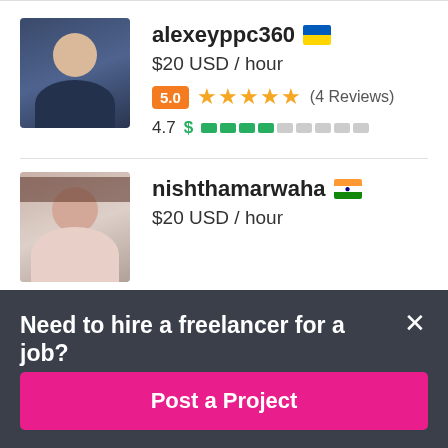[Figure (screenshot): Freelancer profile listing page showing two freelancer cards and a call-to-action bar]
alexeyppc360 🇺🇦
$20 USD / hour
5.0 ★★★★★ (4 Reviews)
4.7
nishthamarwaha 🇮🇳
$20 USD / hour
Need to hire a freelancer for a job?
Post a Project